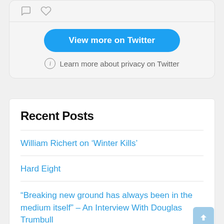[Figure (screenshot): Twitter embed widget showing comment and heart icons, a 'View more on Twitter' blue button, and a privacy notice]
View more on Twitter
Learn more about privacy on Twitter
Recent Posts
William Richert on 'Winter Kills'
Hard Eight
“Breaking new ground has always been in the medium itself” – An Interview With Douglas Trumbull